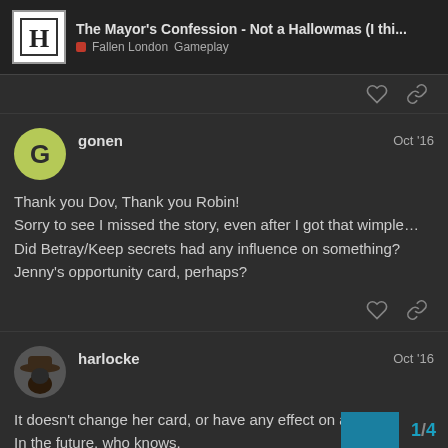The Mayor's Confession - Not a Hallowmas (I thi... | Fallen London Gameplay
gonen   Oct '16
Thank you Dov, Thank you Robin!
Sorry to see I missed the story, even after I got that wimple…
Did Betray/Keep secrets had any influence on something?
Jenny's opportunity card, perhaps?
harlocke   Oct '16
It doesn't change her card, or have any effect on anything yet.
In the future, who knows.
1 / 4